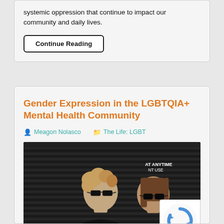systemic oppression that continue to impact our community and daily lives.
Continue Reading
Gender Expression in the LGBTQIA+ Mental Health Community
Meagon Nolasco   The Life: LGBT
[Figure (photo): Two people wearing black sunglasses and black clothing posing together, one with curly light-colored hair and one with straight brown hair. Background shows a dark metal shutter. A partial sign reads 'ANYTIME USE'.]